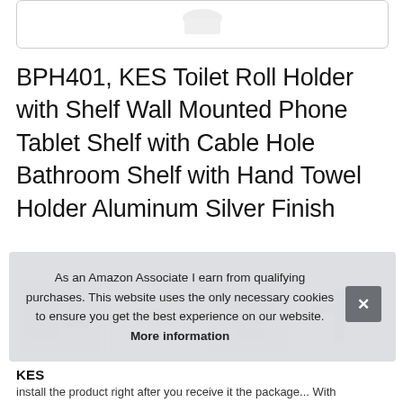[Figure (photo): Partial product image at top, cropped, showing bottom edge of product photo in a rounded rectangle box]
BPH401, KES Toilet Roll Holder with Shelf Wall Mounted Phone Tablet Shelf with Cable Hole Bathroom Shelf with Hand Towel Holder Aluminum Silver Finish
[Figure (photo): Row of four product thumbnail images showing the toilet roll holder from various angles]
KES
install the product right after you receive it the package... With
As an Amazon Associate I earn from qualifying purchases. This website uses the only necessary cookies to ensure you get the best experience on our website. More information